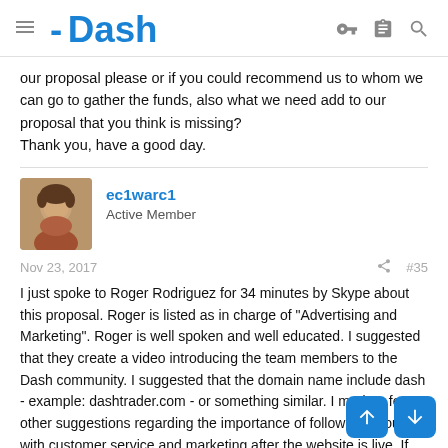Dash
our proposal please or if you could recommend us to whom we can go to gather the funds, also what we need add to our proposal that you think is missing?
Thank you, have a good day.
ec1warc1
Active Member
Nov 23, 2017  #35
I just spoke to Roger Rodriguez for 34 minutes by Skype about this proposal. Roger is listed as in charge of "Advertising and Marketing". Roger is well spoken and well educated. I suggested that they create a video introducing the team members to the Dash community. I suggested that the domain name include dash - example: dashtrader.com - or something similar. I made a few other suggestions regarding the importance of following through with customer service and marketing after the website is live. If they can